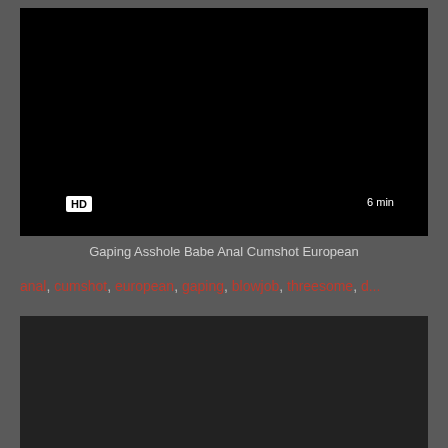[Figure (screenshot): Black video thumbnail with HD badge and 6 min duration label]
Gaping Asshole Babe Anal Cumshot European
anal, cumshot, european, gaping, blowjob, threesome, d...
[Figure (screenshot): Second black video thumbnail]